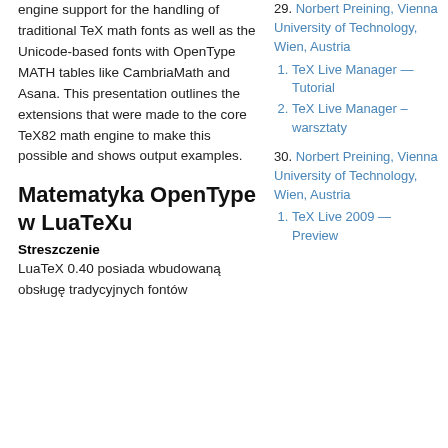engine support for the handling of traditional TeX math fonts as well as the Unicode-based fonts with OpenType MATH tables like CambriaMath and Asana. This presentation outlines the extensions that were made to the core TeX82 math engine to make this possible and shows output examples.
Matematyka OpenType w LuaTeXu
Streszczenie
LuaTeX 0.40 posiada wbudowaną obsługę tradycyjnych fontów
29. Norbert Preining, Vienna University of Technology, Wien, Austria
  1. TeX Live Manager — Tutorial
  2. TeX Live Manager – warsztaty
30. Norbert Preining, Vienna University of Technology, Wien, Austria
  1. TeX Live 2009 — Preview